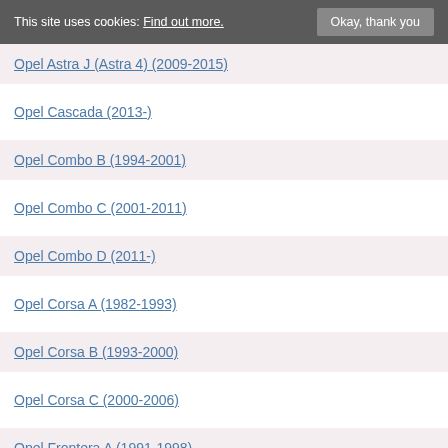This site uses cookies: Find out more. Okay, thank you
Opel Astra J (Astra 4) (2009-2015)
Opel Cascada (2013-)
Opel Combo B (1994-2001)
Opel Combo C (2001-2011)
Opel Combo D (2011-)
Opel Corsa A (1982-1993)
Opel Corsa B (1993-2000)
Opel Corsa C (2000-2006)
Opel Frontera A (1991-1998)
Opel Frontera B (1998-2003)
Opel Insignia A (2008-2017)